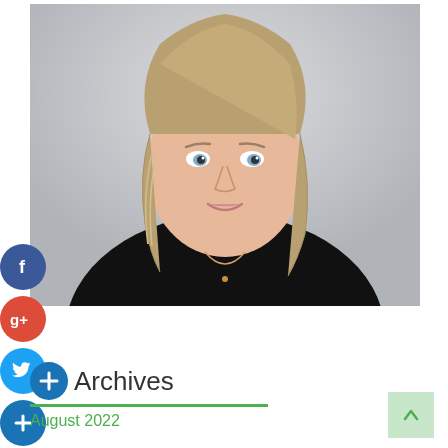[Figure (photo): Professional headshot of a blonde woman with blue eyes wearing a black top and a necklace, against a light grey background]
[Figure (infographic): Social media share buttons: Facebook (blue circle with 'f'), Google+ (red circle with 'g+'), Twitter (blue circle with bird icon), and a dark blue plus circle button]
Archives
August 2022